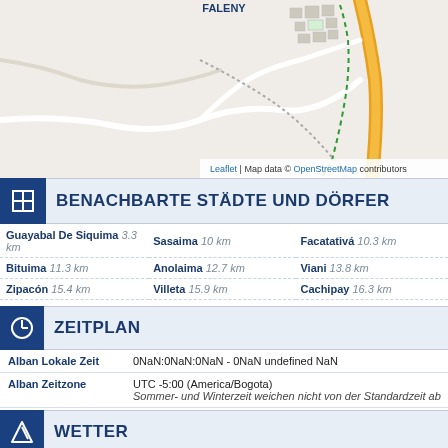[Figure (map): OpenStreetMap tile showing Alban, Colombia area with roads, buildings, and terrain. Orange road visible on right side, dashed green path, white roads on beige background.]
Leaflet | Map data © OpenStreetMap contributors
BENACHBARTE STÄDTE UND DÖRFER
| City | Distance | City | Distance | City | Distance |
| --- | --- | --- | --- | --- | --- |
| Guayabal De Siquima | 3.3 km | Sasaima | 10 km | Facatativá | 10.3 km |
| Bituima | 11.3 km | Anolaima | 12.7 km | Viani | 13.8 km |
| Zipacón | 15.4 km | Villeta | 15.9 km | Cachipay | 16.3 km |
| La Vega | 17.4 km | Quipile | 18.2 km | Bojacá | 18.8 km |
ZEITPLAN
| Label | Value |
| --- | --- |
| Alban Lokale Zeit | 0NaN:0NaN:0NaN - 0NaN undefined NaN |
| Alban Zeitzone | UTC -5:00 (America/Bogota)
Sommer- und Winterzeit weichen nicht von der Standardzeit ab |
WETTER